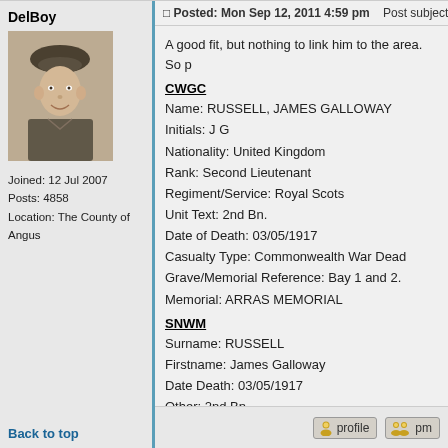DelBoy
[Figure (photo): Black and white portrait photo of a young man wearing a military beret, smiling]
Joined: 12 Jul 2007
Posts: 4858
Location: The County of Angus
Posted: Mon Sep 12, 2011 4:59 pm    Post subject: 2nd L
A good fit, but nothing to link him to the area. So p
CWGC
Name: RUSSELL, JAMES GALLOWAY
Initials: J G
Nationality: United Kingdom
Rank: Second Lieutenant
Regiment/Service: Royal Scots
Unit Text: 2nd Bn.
Date of Death: 03/05/1917
Casualty Type: Commonwealth War Dead
Grave/Memorial Reference: Bay 1 and 2.
Memorial: ARRAS MEMORIAL
SNWM
Surname: RUSSELL
Firstname: James Galloway
Date Death: 03/05/1917
Other: 2nd Bn.
SNWM roll: THE ROYAL SCOTS (LOTHIAN REG
Rank: 2nd Lt
Back to top